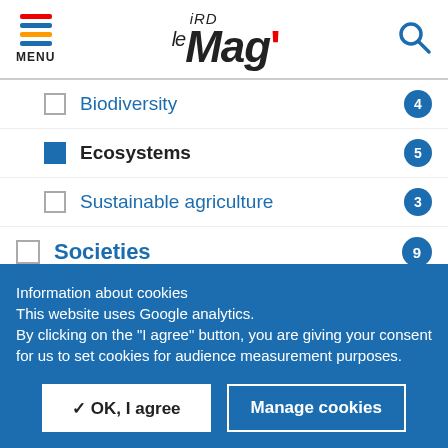MENU | IRD le Mag'
Biodiversity 4
Ecosystems 5
Sustainable agriculture 3
Societies 9
Governance 1
Inequalities and poverty 5
Information about cookies
This website uses Google analytics.
By clicking on the "I agree" button, you are giving your consent for us to set cookies for audience measurement purposes.